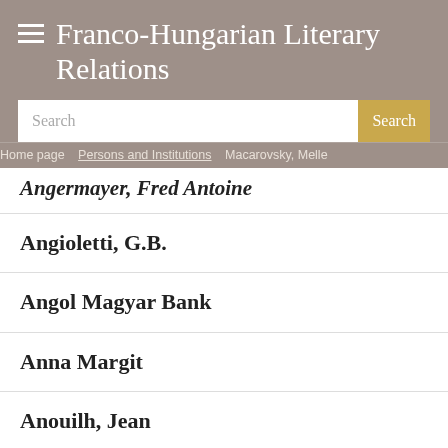Franco-Hungarian Literary Relations
Search
Home page > Persons and Institutions > Macarovsky, Melle
Angermayer, Fred Antoine
Angioletti, G.B.
Angol Magyar Bank
Anna Margit
Anouilh, Jean